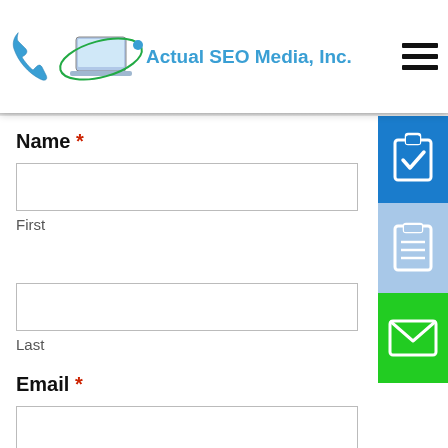Actual SEO Media, Inc. — navigation header with phone icon, logo, and hamburger menu
Name *
First
Last
Email *